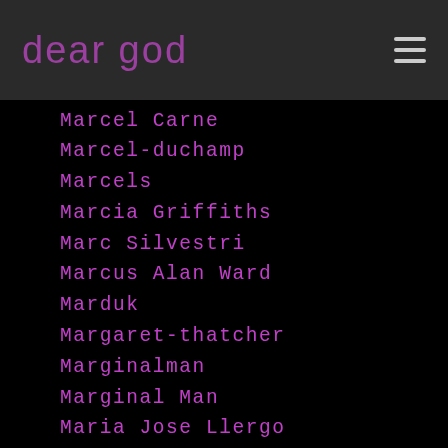dear god
Marcel Carne
Marcel-duchamp
Marcels
Marcia Griffiths
Marc Silvestri
Marcus Alan Ward
Marduk
Margaret-thatcher
Marginalman
Marginal Man
Maria Jose Llergo
Marianne Faithfull
Mariano-rivera
Marilyn Manson
Marilyn-manson
Marina And The Diamonds
Maria-caldato